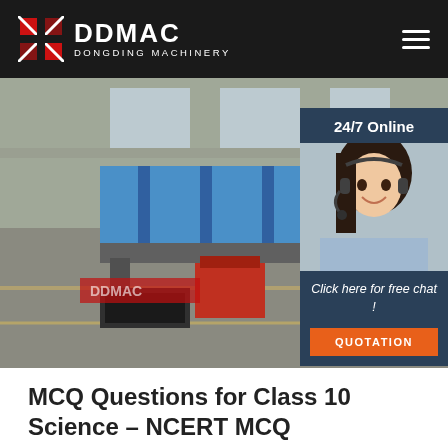[Figure (logo): DDMAC Dongding Machinery logo with red grid icon on dark header bar]
[Figure (photo): Industrial factory floor with large blue cylindrical rotary drum dryer/kiln machinery, with a 24/7 Online chat overlay showing a female customer service representative with headset]
MCQ Questions for Class 10 Science – NCERT MCQ